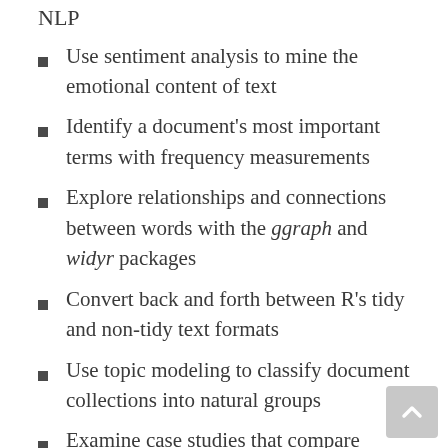NLP
Use sentiment analysis to mine the emotional content of text
Identify a document's most important terms with frequency measurements
Explore relationships and connections between words with the ggraph and widyr packages
Convert back and forth between R's tidy and non-tidy text formats
Use topic modeling to classify document collections into natural groups
Examine case studies that compare Twitter archives, dig into NASA metadata, and analyze thousands of Usenet messages